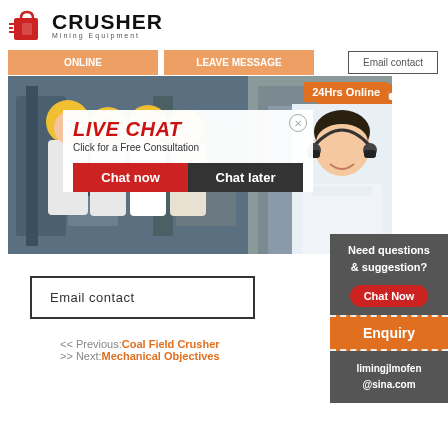[Figure (logo): Crusher Mining Equipment logo with red shopping cart icon and bold CRUSHER text]
[Figure (infographic): Live chat banner with mining workers in hard hats, 24Hrs Online badge, LIVE CHAT overlay with chat now and chat later buttons, customer service agent photo]
Email contact
Need questions & suggestion?
Chat Now
Enquiry
limingjlmofen@sina.com
Email contact
< < Previous: Coal Field Crusher
>> Next: Mechanical Objectives